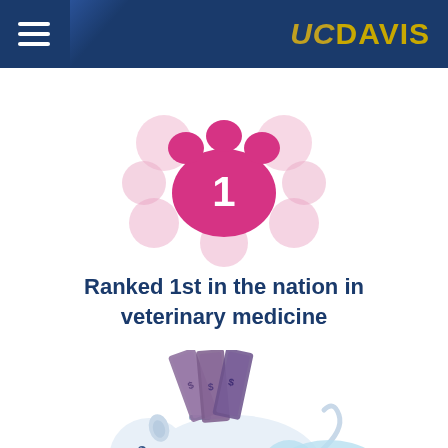UC DAVIS
[Figure (illustration): Pink paw print with the number 1 inside it, on a white circular background with pink fluffy accents, representing a #1 ranking.]
Ranked 1st in the nation in veterinary medicine
[Figure (illustration): A piggy bank with rolled US dollar bills sticking out of the top slot, partially cropped at the bottom of the page.]